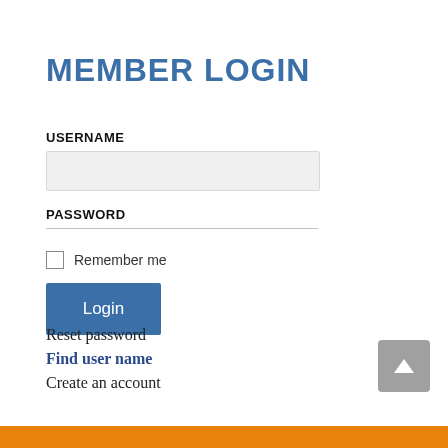MEMBER LOGIN
USERNAME
[Figure (screenshot): Empty username input field with light gray background]
PASSWORD
[Figure (screenshot): Empty password input field shown as underline only]
Remember me
[Figure (screenshot): Blue Login button]
Reset password
Find user name
Create an account
[Figure (screenshot): Gray scroll-to-top button with upward chevron arrow]
[Figure (other): Orange footer bar at bottom of page]